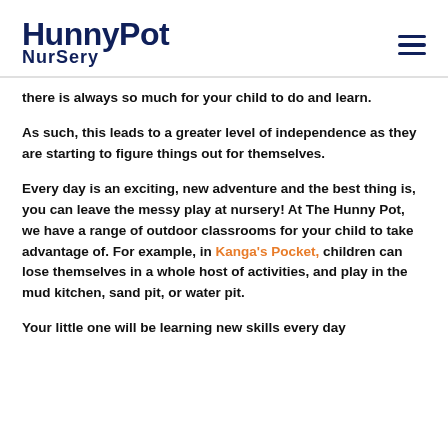HunnyPot Nursery
there is always so much for your child to do and learn.
As such, this leads to a greater level of independence as they are starting to figure things out for themselves.
Every day is an exciting, new adventure and the best thing is, you can leave the messy play at nursery! At The Hunny Pot, we have a range of outdoor classrooms for your child to take advantage of. For example, in Kanga's Pocket, children can lose themselves in a whole host of activities, and play in the mud kitchen, sand pit, or water pit.
Your little one will be learning new skills every day